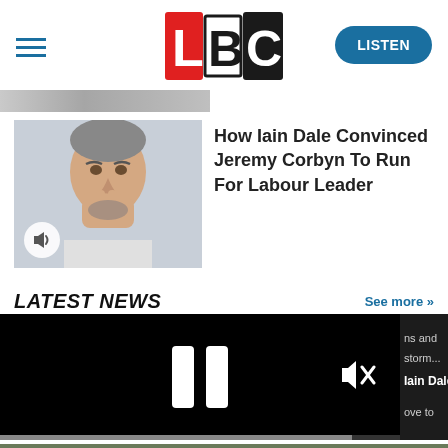LBC — LISTEN
[Figure (screenshot): Thumbnail image of Jeremy Corbyn looking pensive with hand near mouth, with audio speaker icon overlay]
How Iain Dale Convinced Jeremy Corbyn To Run For Labour Leader
LATEST NEWS
See more >>
[Figure (screenshot): Black video player overlay showing pause button (two vertical bars) and muted speaker icon with x]
ns and storm...
Iain Dale's In
ove to